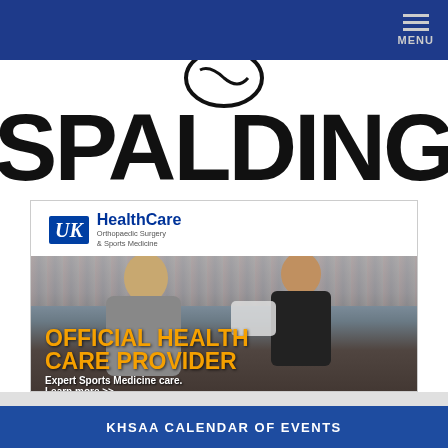MENU
[Figure (logo): Spalding brand logo - large bold SPALDING text with circular logo mark above]
[Figure (photo): UK HealthCare advertisement showing sports medicine staff treating athlete on field with crowd in background. Text: OFFICIAL HEALTH CARE PROVIDER. Expert Sports Medicine care. Learn more >>]
KHSAA CALENDAR OF EVENTS